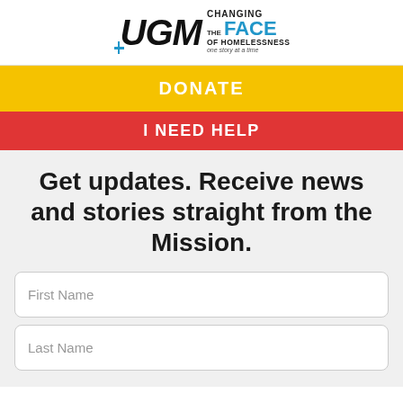[Figure (logo): UGM logo with text 'CHANGING THE FACE OF HOMELESSNESS one story at a time']
DONATE
I NEED HELP
Get updates. Receive news and stories straight from the Mission.
First Name
Last Name